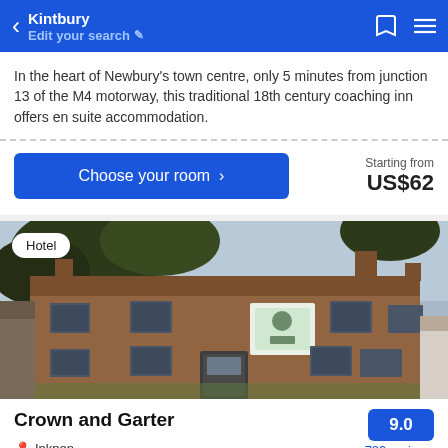Kintbury — Edit your search
In the heart of Newbury's town centre, only 5 minutes from junction 13 of the M4 motorway, this traditional 18th century coaching inn offers en suite accommodation.
Choose your room  >  Starting from  US$62
[Figure (photo): Exterior photo of Crown and Garter hotel — a traditional English brick building with multiple windows and a tiled roof. A 'Hotel' badge is overlaid in the top-left corner.]
Crown and Garter
9.0
Inkpen
739 reviews
1.73 mi from center